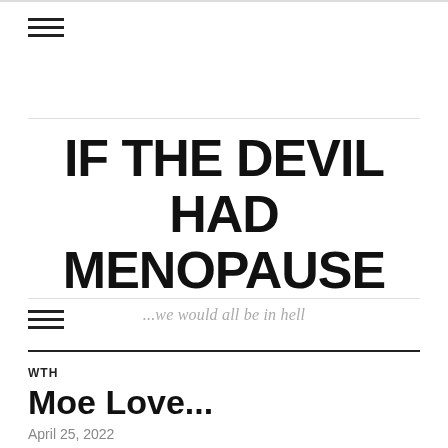IF THE DEVIL HAD MENOPAUSE ...we would all be in hell
WTH
Moe Love...
April 25, 2022